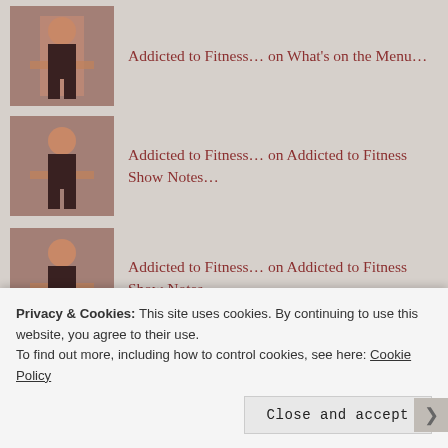Addicted to Fitness… on What's on the Menu…
Addicted to Fitness… on Addicted to Fitness Show Notes…
Addicted to Fitness… on Addicted to Fitness Show Notes…
Addicted to Fitness… on Addicted to Fitness Show Notes…
ARCHIVES
Privacy & Cookies: This site uses cookies. By continuing to use this website, you agree to their use.
To find out more, including how to control cookies, see here: Cookie Policy
Close and accept